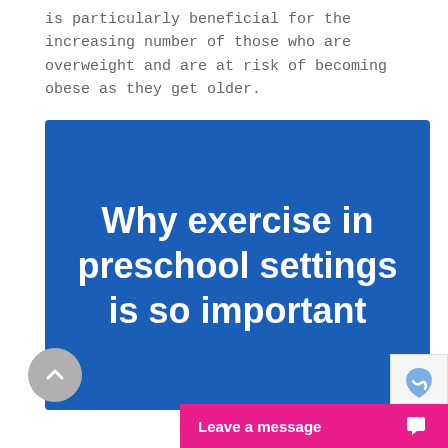is particularly beneficial for the increasing number of those who are overweight and are at risk of becoming obese as they get older.
[Figure (infographic): Blue rectangular box with bold white text reading: Why exercise in preschool settings is so important]